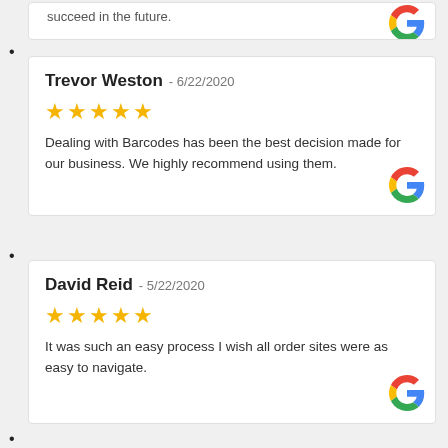succeed in the future.
•
Trevor Weston - 6/22/2020
★★★★★
Dealing with Barcodes has been the best decision made for our business. We highly recommend using them.
•
David Reid - 5/22/2020
★★★★★
It was such an easy process I wish all order sites were as easy to navigate.
•